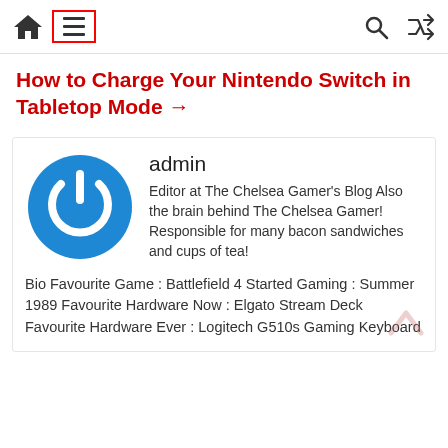Navigation bar with home icon, menu (hamburger) icon in red box, search icon, shuffle icon
How to Charge Your Nintendo Switch in Tabletop Mode →
[Figure (illustration): Blue circular power button icon — author avatar for admin]
admin
Editor at The Chelsea Gamer's Blog Also the brain behind The Chelsea Gamer! Responsible for many bacon sandwiches and cups of tea!
Bio Favourite Game : Battlefield 4 Started Gaming : Summer 1989 Favourite Hardware Now : Elgato Stream Deck Favourite Hardware Ever : Logitech G510s Gaming Keyboard